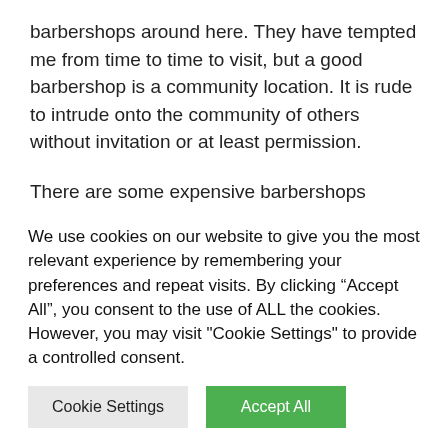barbershops around here. They have tempted me from time to time to visit, but a good barbershop is a community location. It is rude to intrude onto the community of others without invitation or at least permission.
There are some expensive barbershops aimed at hipsters, but I fit there even less.
Perhaps there are still a few working class barbershops near me frequented by white men. Despite my
We use cookies on our website to give you the most relevant experience by remembering your preferences and repeat visits. By clicking “Accept All”, you consent to the use of ALL the cookies. However, you may visit "Cookie Settings" to provide a controlled consent.